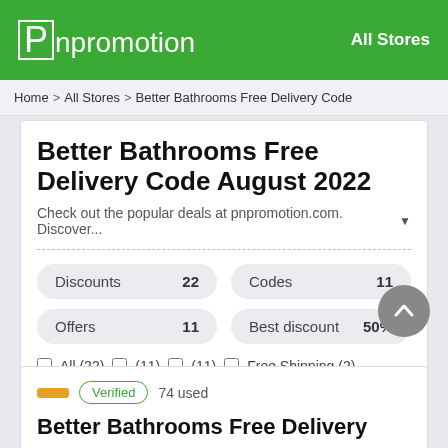Pnpromotion — All Stores
Home > All Stores > Better Bathrooms Free Delivery Code
Better Bathrooms Free Delivery Code August 2022
Check out the popular deals at pnpromotion.com. Discover... ▼
| Discounts | 22 | Codes | 11 |
| --- | --- | --- | --- |
| Offers | 11 | Best discount | 50% |
All (22) (11) (11) Free Shipping (2)
Verified   74 used
Better Bathrooms Free Delivery...